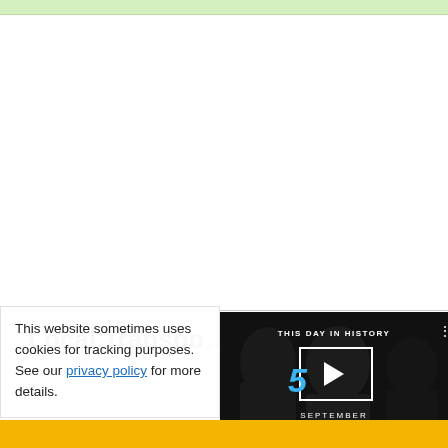[Figure (other): Light green banner strip at the top of the page]
Local Transpo...
This website sometimes uses cookies for tracking purposes. See our privacy policy for more details.
[Figure (screenshot): Video thumbnail showing 'THIS DAY IN HISTORY' with a play button overlay, the number 5, SEPTEMBER label, mute icon, progress bar, and fullscreen button on a dark background with people in the background]